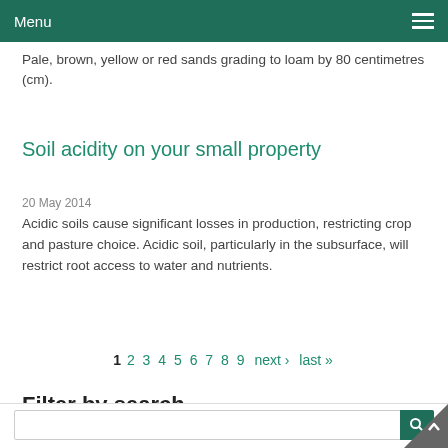Menu
Pale, brown, yellow or red sands grading to loam by 80 centimetres (cm).
Soil acidity on your small property
20 May 2014
Acidic soils cause significant losses in production, restricting crop and pasture choice. Acidic soil, particularly in the subsurface, will restrict root access to water and nutrients.
1 2 3 4 5 6 7 8 9 next › last »
Filter by search